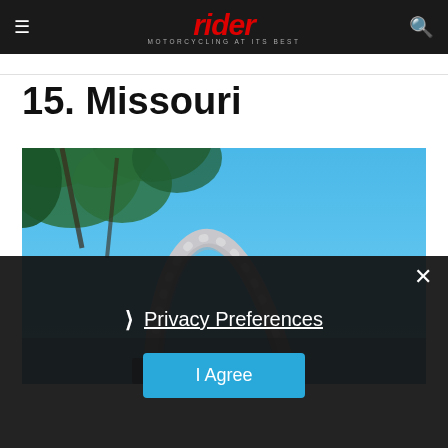rider — MOTORCYCLING AT ITS BEST
15. Missouri
[Figure (photo): The Gateway Arch in St. Louis, Missouri, photographed against a bright blue sky with tree branches visible in the upper left corner.]
Privacy Preferences
I Agree